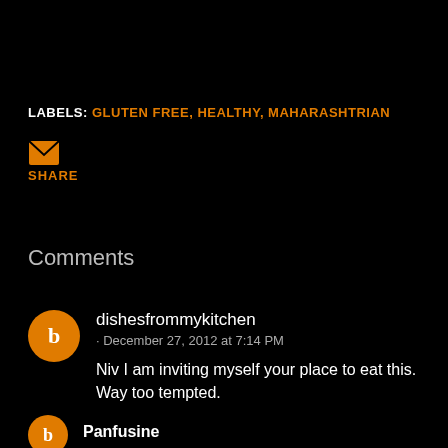LABELS: GLUTEN FREE, HEALTHY, MAHARASHTRIAN
[Figure (other): Email/share icon (envelope)]
SHARE
Comments
dishesfrommykitchen · December 27, 2012 at 7:14 PM
Niv I am inviting myself your place to eat this. Way too tempted.
Panfusine